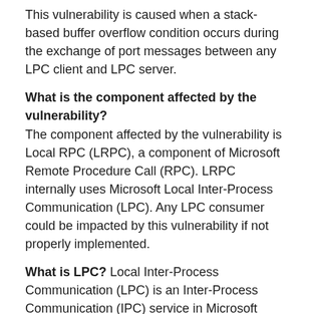This vulnerability is caused when a stack-based buffer overflow condition occurs during the exchange of port messages between any LPC client and LPC server.
What is the component affected by the vulnerability? The component affected by the vulnerability is Local RPC (LRPC), a component of Microsoft Remote Procedure Call (RPC). LRPC internally uses Microsoft Local Inter-Process Communication (LPC). Any LPC consumer could be impacted by this vulnerability if not properly implemented.
What is LPC? Local Inter-Process Communication (LPC) is an Inter-Process Communication (IPC) service in Microsoft Windows. This service allows threads and processes to communicate with each other. When the client process and the server process are located on the same system, LPC can be used. Beginning with Windows Vista, the use of LPC was deprecated by a newer mechanism called Asynchronous LPC (ALPC). Note that Microsoft does not recommend the